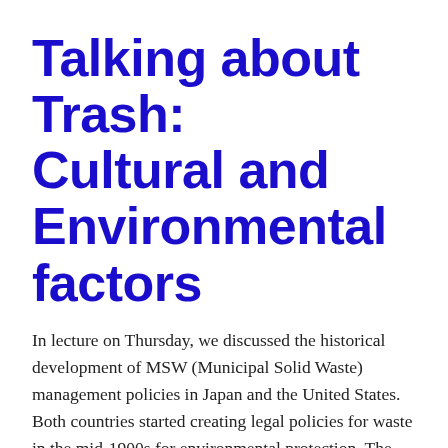Talking about Trash: Cultural and Environmental factors
In lecture on Thursday, we discussed the historical development of MSW (Municipal Solid Waste) management policies in Japan and the United States. Both countries started creating legal policies for waste in the mid-1900s for environmental protection. The Solid Waste Disposal Act (SWDA) of 1965 was the first US MSW law enacted, and the Waste Management Act of 1970 in Japan became its framework for MSW policy